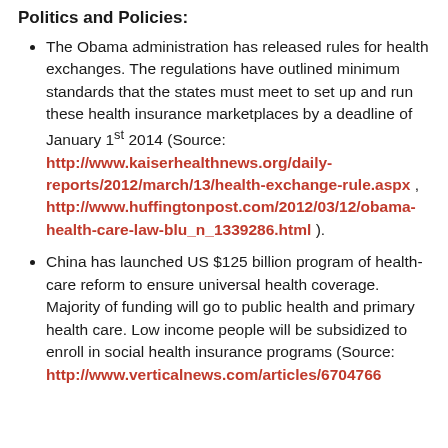Politics and Policies:
The Obama administration has released rules for health exchanges. The regulations have outlined minimum standards that the states must meet to set up and run these health insurance marketplaces by a deadline of January 1st 2014 (Source: http://www.kaiserhealthnews.org/daily-reports/2012/march/13/health-exchange-rule.aspx , http://www.huffingtonpost.com/2012/03/12/obama-health-care-law-blu_n_1339286.html ).
China has launched US $125 billion program of health-care reform to ensure universal health coverage. Majority of funding will go to public health and primary health care. Low income people will be subsidized to enroll in social health insurance programs (Source: http://www.verticalnews.com/articles/6704766